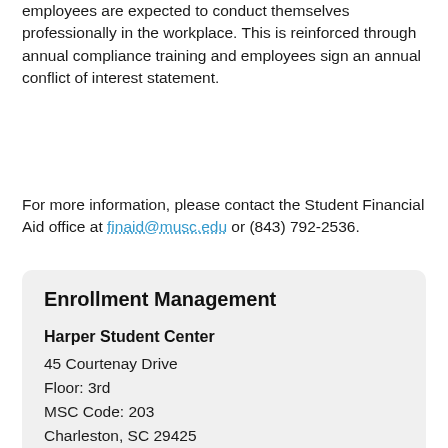employees are expected to conduct themselves professionally in the workplace. This is reinforced through annual compliance training and employees sign an annual conflict of interest statement.
For more information, please contact the Student Financial Aid office at finaid@musc.edu or (843) 792-2536.
Enrollment Management
Harper Student Center
45 Courtenay Drive
Floor: 3rd
MSC Code: 203
Charleston, SC 29425
Get Directions
Main: 843-792-2536